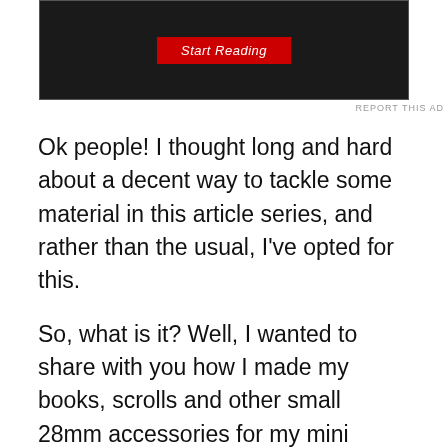[Figure (screenshot): Dark/black advertisement banner with a red 'Start Reading' button in the center]
REPORT THIS AD
Ok people! I thought long and hard about a decent way to tackle some material in this article series, and rather than the usual, I've opted for this.
So, what is it? Well, I wanted to share with you how I made my books, scrolls and other small 28mm accessories for my mini dungeon, and since I had it already half made for myself, I thought I'd finish it as a PDF publication and give it away free for all on Wargames Vault. Yup, that's right, Free free free!
I'm quite proud of it to be honest, each method for constructing the parts of this paper kit are fully explained with pictures, and with this ebook you'll be able to